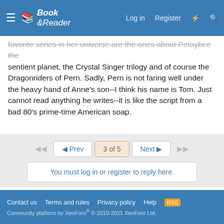Book & Reader — Log in | Register
favorite series in her universe are the ones about Petaybee the sentient planet, the Crystal Singer trilogy and of course the Dragonriders of Pern. Sadly, Pern is not faring well under the heavy hand of Anne's son--I think his name is Tom. Just cannot read anything he writes--it is like the script from a bad 80's prime-time American soap.
◄◄  ◄ Prev  3 of 5  Next ►  ►►
You must log in or register to reply here.
Share:
Sci-Fi, Fantasy, & Horror Books
Contact us  Terms and rules  Privacy policy  Help  [RSS]  Community platform by XenForo® © 2010-2021 XenForo Ltd.